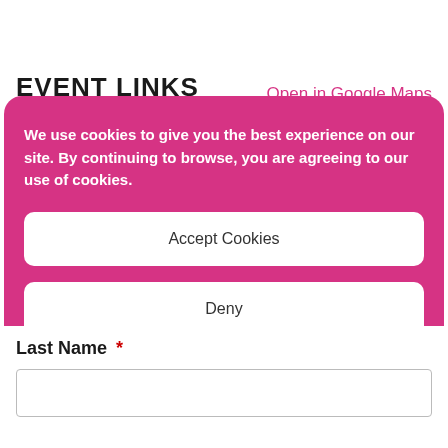EVENT LINKS
Open in Google Maps
We use cookies to give you the best experience on our site. By continuing to browse, you are agreeing to our use of cookies.
Accept Cookies
Deny
Privacy Policy  Privacy Policy
Last Name *